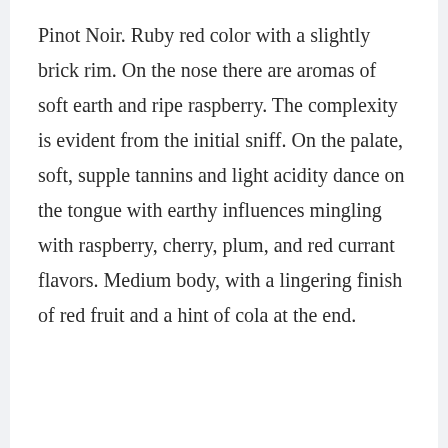Pinot Noir. Ruby red color with a slightly brick rim. On the nose there are aromas of soft earth and ripe raspberry. The complexity is evident from the initial sniff. On the palate, soft, supple tannins and light acidity dance on the tongue with earthy influences mingling with raspberry, cherry, plum, and red currant flavors. Medium body, with a lingering finish of red fruit and a hint of cola at the end.